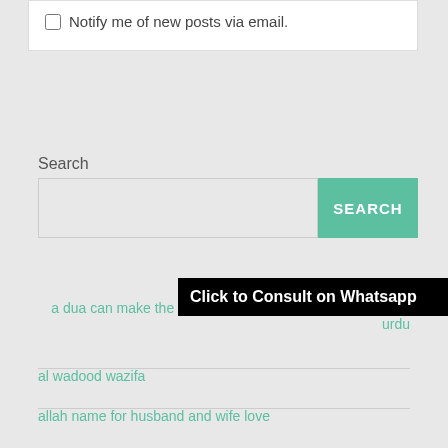Notify me of new posts via email.
Search
Click to Consult on Whatsapp
a dua can make the impossible possible again meaning in urdu
al wadood wazifa
allah name for husband and wife love
amliyat wazifa